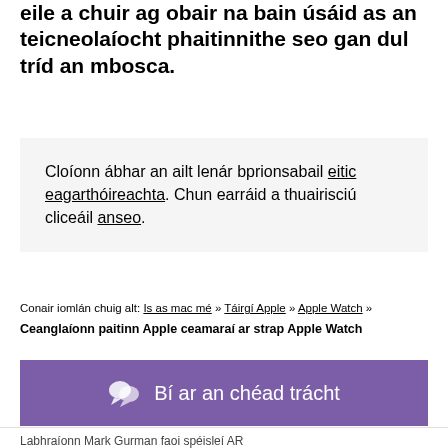eile a chuir ag obair na bain úsáid as an teicneolaíocht phaitinnithe seo gan dul tríd an mbosca.
Cloíonn ábhar an ailt lenár bprionsabail eitic eagarthóireachta. Chun earráid a thuairisciú cliceáil anseo.
Conair iomlán chuig alt: Is as mac mé » Táirgí Apple » Apple Watch » Ceanglaíonn paitinn Apple ceamaraí ar strap Apple Watch
Bí ar an chéad trácht
Labhraíonn Mark Gurman faoi spéisleí AR